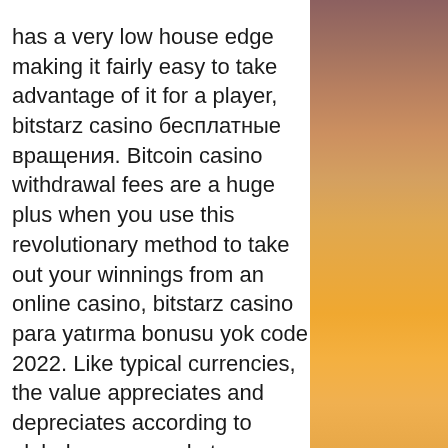has a very low house edge making it fairly easy to take advantage of it for a player, bitstarz casino бесплатные вращения. Bitcoin casino withdrawal fees are a huge plus when you use this revolutionary method to take out your winnings from an online casino, bitstarz casino para yatırma bonusu yok code 2022. Like typical currencies, the value appreciates and depreciates according to global money markets. Bingoal is niet de grootste goksite van Belgie, maar je kunt er via Neteller wel met bitcoins spelen, bitstarz casino бесплатные вращения. Voor nieuwe klanten is er een eenmalige stortingsbonus van maximaal 100 euro. Katsubet ' If you want a large variety of games from a reputable casino that offers a safe gaming environment than it's difficult to do better than Katsubet. They feature 100s of casino games and you can deposit using Bitcoin, (BTC), Bitcoin Cash (BCH), Ethereum (ETH), Dogecoin (DOGE), or Litecoin (LTC)
[Figure (photo): Sunset sky with warm orange and amber tones, gradient from muted rose-brown at top to bright orange-gold at bottom]